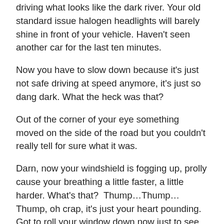driving what looks like the dark river. Your old standard issue halogen headlights will barely shine in front of your vehicle. Haven't seen another car for the last ten minutes.
Now you have to slow down because it's just not safe driving at speed anymore, it's just so dang dark. What the heck was that?
Out of the corner of your eye something moved on the side of the road but you couldn't really tell for sure what it was.
Darn, now your windshield is fogging up, prolly cause your breathing a little faster, a little harder. What's that?  Thump…Thump…Thump, oh crap, it's just your heart pounding. Got to roll your window down now just to see the road… and a ZOMBIE grabs you by the head and jerks you out'a your car!